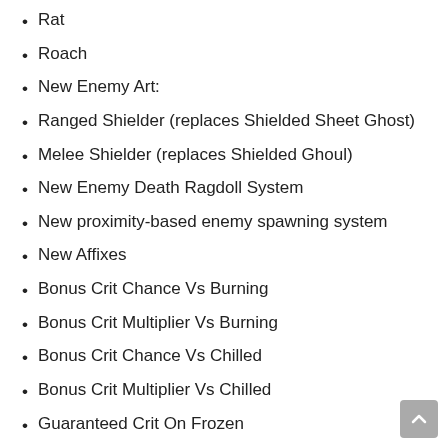Rat
Roach
New Enemy Art:
Ranged Shielder (replaces Shielded Sheet Ghost)
Melee Shielder (replaces Shielded Ghoul)
New Enemy Death Ragdoll System
New proximity-based enemy spawning system
New Affixes
Bonus Crit Chance Vs Burning
Bonus Crit Multiplier Vs Burning
Bonus Crit Chance Vs Chilled
Bonus Crit Multiplier Vs Chilled
Guaranteed Crit On Frozen
Coin Spawn On Bomb Explosion
Mod Spawn On Frozen Shatter
Increased Legendary Friendlies
NoFriendlyDeployCost
Bonus Flashlight Damage From Ice Equipment